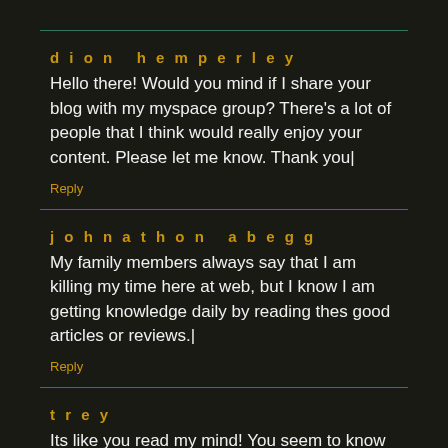dion hemperley
Hello there! Would you mind if I share your blog with my myspace group? There's a lot of people that I think would really enjoy your content. Please let me know. Thank you|
Reply
johnathon abegg
My family members always say that I am killing my time here at web, but I know I am getting knowledge daily by reading thes good articles or reviews.|
Reply
trey
Its like you read my mind! You seem to know so much about this, like you wrote the book in